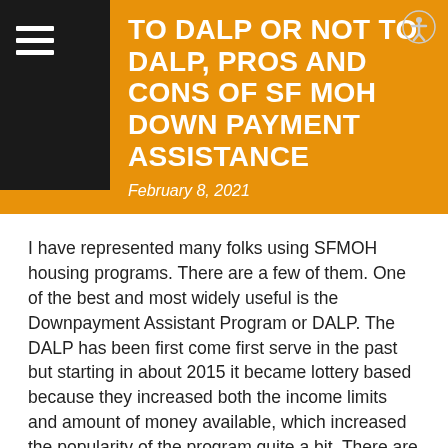TO DALP OR NOT TO DALP, PROS AND CONS OF SF MOH DOWN PAYMENT ASSISTANCE
February 8, 2021
I have represented many folks using SFMOH housing programs.  There are a few of them.  One of the best and most widely useful is the Downpayment Assistant Program or DALP.  The DALP has been first come first serve in the past but starting in about 2015 it became lottery based because they increased both the income limits and amount of money available, which increased the popularity of the program quite a bit.  There are three of the initial DALP allocations for employees of SFUSD and three